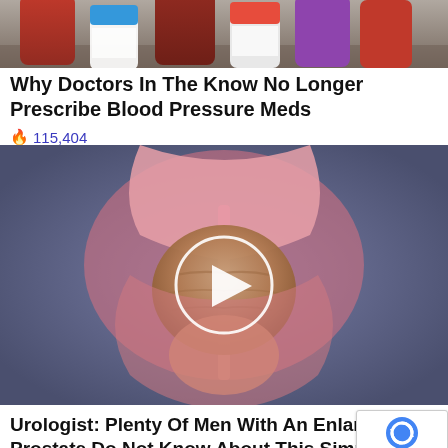[Figure (photo): Partial photo of medicine bottles on a gray surface, cropped at top]
Why Doctors In The Know No Longer Prescribe Blood Pressure Meds
🔥 115,404
[Figure (photo): Medical illustration of an enlarged prostate gland shown in cross-section with anatomical detail, pink and beige tones on gray-blue background, with a white circular play button overlay indicating a video]
Urologist: Plenty Of Men With An Enlarged Prostate Do Not Know About This Simple Solution